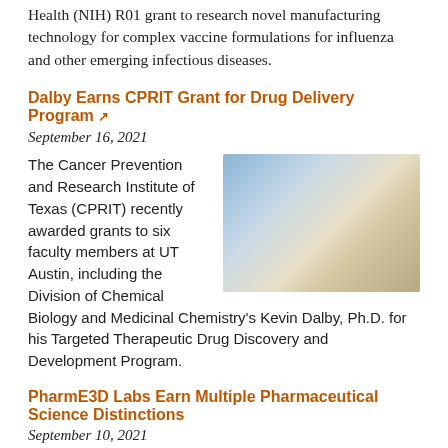Health (NIH) R01 grant to research novel manufacturing technology for complex vaccine formulations for influenza and other emerging infectious diseases.
Dalby Earns CPRIT Grant for Drug Delivery Program ↗
September 16, 2021
[Figure (photo): Researcher in gloves and mask holding a multi-well plate in a laboratory setting]
The Cancer Prevention and Research Institute of Texas (CPRIT) recently awarded grants to six faculty members at UT Austin, including the Division of Chemical Biology and Medicinal Chemistry's Kevin Dalby, Ph.D. for his Targeted Therapeutic Drug Discovery and Development Program.
PharmE3D Labs Earn Multiple Pharmaceutical Science Distinctions
September 10, 2021
[Figure (photo): Three team members / researchers shown in portrait photos side by side]
The college's